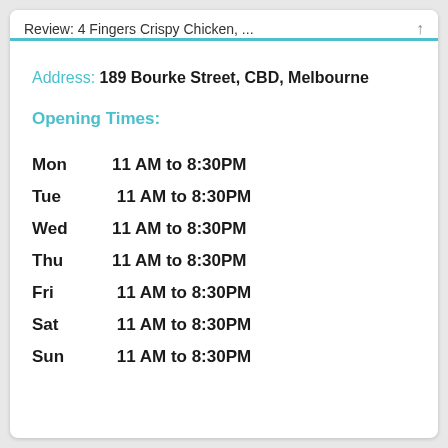Review: 4 Fingers Crispy Chicken, ...
Address: 189 Bourke Street, CBD, Melbourne
Opening Times:
| Day | Hours |
| --- | --- |
| Mon | 11 AM to 8:30PM |
| Tue | 11 AM to 8:30PM |
| Wed | 11 AM to 8:30PM |
| Thu | 11 AM to 8:30PM |
| Fri | 11 AM to 8:30PM |
| Sat | 11 AM to 8:30PM |
| Sun | 11 AM to 8:30PM |